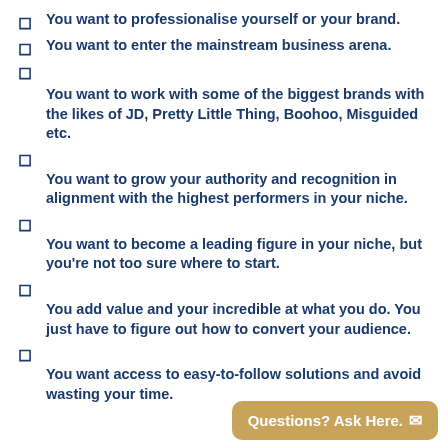You want to professionalise yourself or your brand.
You want to enter the mainstream business arena.
You want to work with some of the biggest brands with the likes of JD, Pretty Little Thing, Boohoo, Misguided etc.
You want to grow your authority and recognition in alignment with the highest performers in your niche.
You want to become a leading figure in your niche, but you're not too sure where to start.
You add value and your incredible at what you do. You just have to figure out how to convert your audience.
You want access to easy-to-follow solutions and avoid wasting your time.